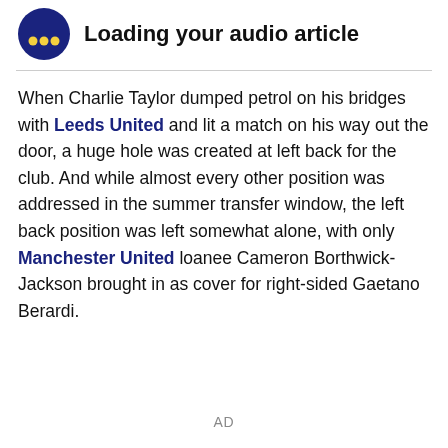[Figure (logo): Dark navy blue circular audio player icon with three yellow dots arranged in a triangle pattern]
Loading your audio article
When Charlie Taylor dumped petrol on his bridges with Leeds United and lit a match on his way out the door, a huge hole was created at left back for the club. And while almost every other position was addressed in the summer transfer window, the left back position was left somewhat alone, with only Manchester United loanee Cameron Borthwick-Jackson brought in as cover for right-sided Gaetano Berardi.
AD